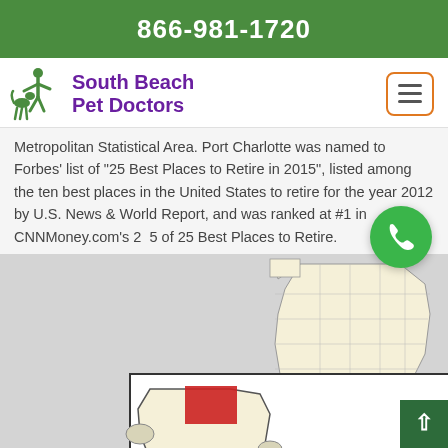866-981-1720
[Figure (logo): South Beach Pet Doctors logo with green silhouette of person walking dog and purple text]
Metropolitan Statistical Area. Port Charlotte was named to Forbes' list of "25 Best Places to Retire in 2015", listed among the ten best places in the United States to retire for the year 2012 by U.S. News & World Report, and was ranked at #1 in CNNMoney.com's 25 Best Places to Retire.
[Figure (map): Map of Florida showing Charlotte County location with red highlighted area indicating Port Charlotte, alongside a state-level map with the county marked in dark red/orange]